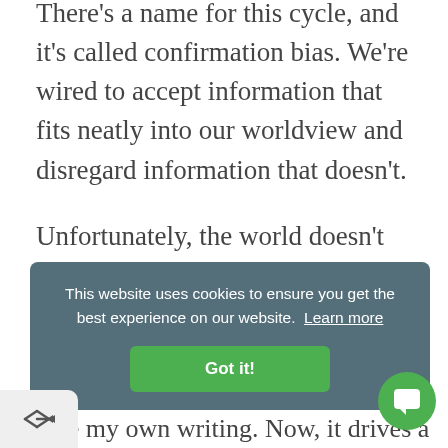There's a name for this cycle, and it's called confirmation bias. We're wired to accept information that fits neatly into our worldview and disregard information that doesn't.
Unfortunately, the world doesn't care whether you think you can't code or aren't good at sales.
[Figure (screenshot): Cookie consent banner with text 'This website uses cookies to ensure you get the best experience on our website. Learn more' and a green 'Got it!' button. A green chat widget circle is in the bottom-right corner. A share icon is in the bottom-left corner. Partial text at the very bottom reads 'hate my own writing. Now, it drives a'.]
hate my own writing. Now, it drives a